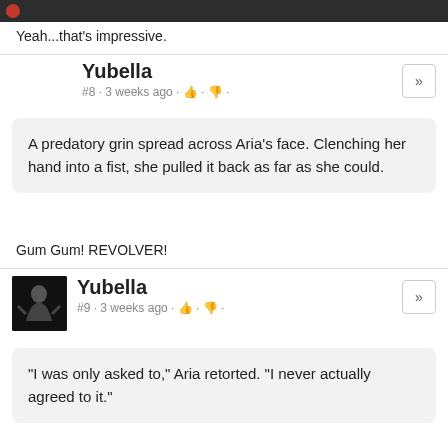Yeah...that's impressive.
Yubella
#8 · 3 weeks ago · 👍 · 👎 ·
A predatory grin spread across Aria's face. Clenching her hand into a fist, she pulled it back as far as she could.
Gum Gum! REVOLVER!
Yubella
#9 · 3 weeks ago · 👍 · 👎 ·
"I was only asked to," Aria retorted. "I never actually agreed to it."